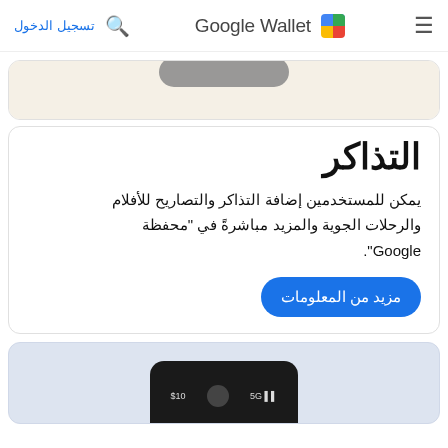تسجيل الدخول | Google Wallet
[Figure (screenshot): Partial view of a card with cream/beige background and a dark pill-shaped button at top]
التذاكر
يمكن للمستخدمين إضافة التذاكر والتصاريح للأفلام والرحلات الجوية والمزيد مباشرةً في "محفظة Google".
مزيد من المعلومات
[Figure (screenshot): Partial bottom card with light blue/grey background showing bottom portion of a phone mockup with wallet cards]